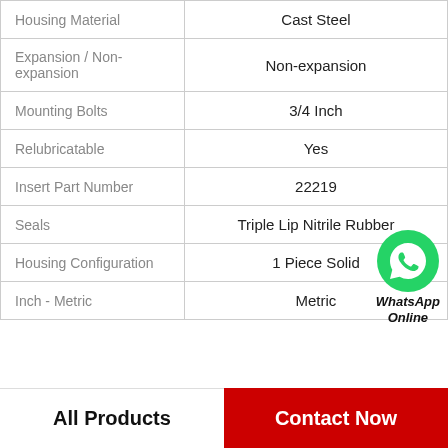| Property | Value |
| --- | --- |
| Housing Material | Cast Steel |
| Expansion / Non-expansion | Non-expansion |
| Mounting Bolts | 3/4 Inch |
| Relubricatable | Yes |
| Insert Part Number | 22219 |
| Seals | Triple Lip Nitrile Rubber |
| Housing Configuration | 1 Piece Solid |
| Inch - Metric | Metric |
All Products
Contact Now